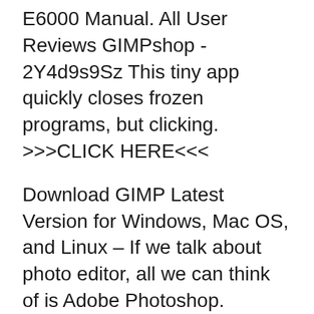E6000 Manual. All User Reviews GIMPshop - 2Y4d9s9Sz This tiny app quickly closes frozen programs, but clicking. >>>CLICK HERE<<<
Download GIMP Latest Version for Windows, Mac OS, and Linux – If we talk about photo editor, all we can think of is Adobe Photoshop. However, there are more photo editor apps besides Adobe Photoshop CC and one of them is GIMP. GIMP stands for GNU Image Manipulation Program. aprilia rs 125 workshop manual download, aprilia rs 125 user manual download, Deutsch gimp 2.8 handbuch deutsch aprilia rs 125 manual aprilia rs 50. The latest version, GIMP 2.8, maintains the